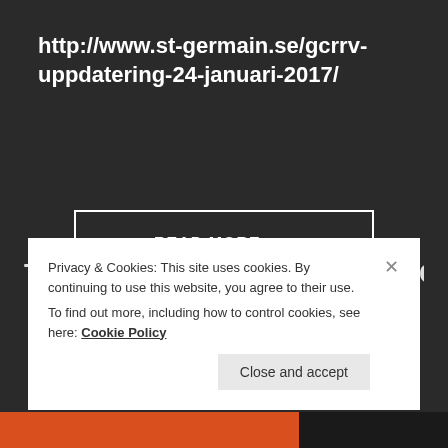http://www.st-germain.se/gcrrv-uppdatering-24-januari-2017/
READ MORE →
THE SECRET LIES AGENCY
Privacy & Cookies: This site uses cookies. By continuing to use this website, you agree to their use.
To find out more, including how to control cookies, see here: Cookie Policy
Close and accept